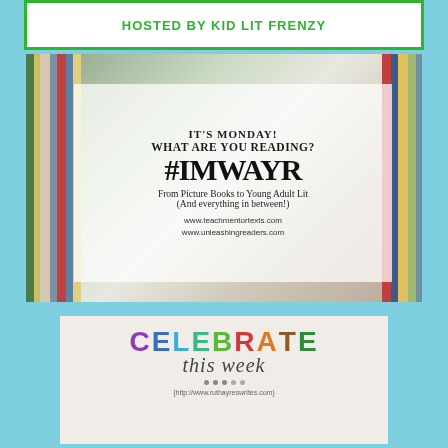HOSTED BY KID LIT FRENZY
[Figure (illustration): IMWAYR promotional image showing bookshelves in background with white semi-transparent overlay containing text: IT'S MONDAY! WHAT ARE YOU READING? #IMWAYR From Picture Books to Young Adult Lit (And everything in between!) www.teachmentortexts.com www.unleashhingreaders.com]
[Figure (illustration): Celebrate this week colorful text logo with rainbow-colored letters and cursive 'this week' subtitle, URL: http://www.ruthayreswrites.com]